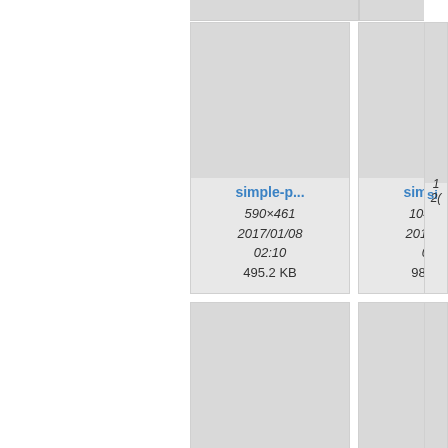[Figure (screenshot): File browser thumbnail grid showing image files. Row 1: 'simple-p...' 590×461 2017/01/08 02:10 495.2 KB; 'simple-p...' 1040×594 2017/01/08 02:10 988.7 KB; partial third card 'si...'. Row 2: 'super-po...' 1060×761 2017/01/09 00:48 801 KB; 'super-po...' 668×522 2017/01/09 00:48 425.5 KB; partial third card 'tit...'.]